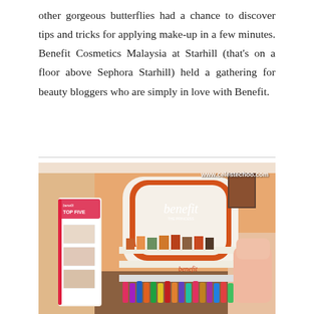other gorgeous butterflies had a chance to discover tips and tricks for applying make-up in a few minutes. Benefit Cosmetics Malaysia at Starhill (that's on a floor above Sephora Starhill) held a gathering for beauty bloggers who are simply in love with Benefit.
[Figure (photo): Interior photo of a Benefit Cosmetics store display showing orange/coral branded shelving with 'benefit' logo prominently displayed, cosmetic products on shelves including a 'TOP FIVE' display on the left side. Watermark reads www.celestechoo.com.]